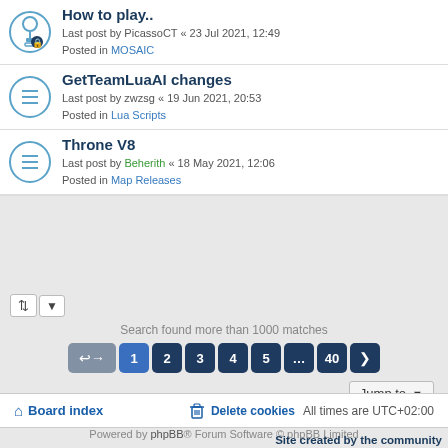How to play.. — Last post by PicassoCT « 23 Jul 2021, 12:49 — Posted in MOSAIC
GetTeamLuaAI changes — Last post by zwzsg « 19 Jun 2021, 20:53 — Posted in Lua Scripts
Throne V8 — Last post by Beherith « 18 May 2021, 12:06 — Posted in Map Releases
Search found more than 1000 matches
Jump to
Board index   Delete cookies   All times are UTC+02:00
Powered by phpBB® Forum Software © phpBB Limited
Site created by the community